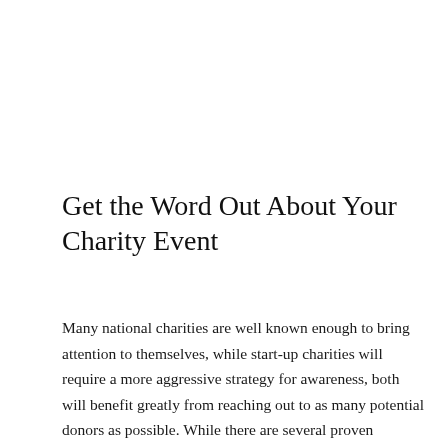Get the Word Out About Your Charity Event
Many national charities are well known enough to bring attention to themselves, while start-up charities will require a more aggressive strategy for awareness, both will benefit greatly from reaching out to as many potential donors as possible. While there are several proven strategies to promote your non-profit charity, you can expect some to be much more effective than others.